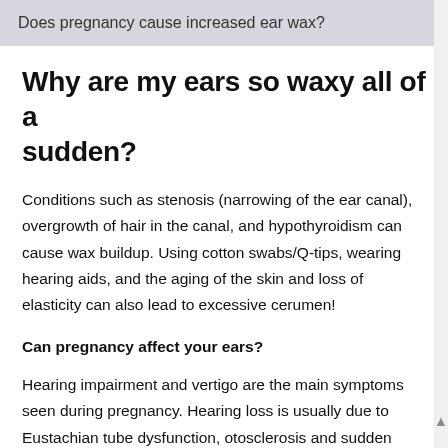Does pregnancy cause increased ear wax?
Why are my ears so waxy all of a sudden?
Conditions such as stenosis (narrowing of the ear canal), overgrowth of hair in the canal, and hypothyroidism can cause wax buildup. Using cotton swabs/Q-tips, wearing hearing aids, and the aging of the skin and loss of elasticity can also lead to excessive cerumen!
Can pregnancy affect your ears?
Hearing impairment and vertigo are the main symptoms seen during pregnancy. Hearing loss is usually due to Eustachian tube dysfunction, otosclerosis and sudden